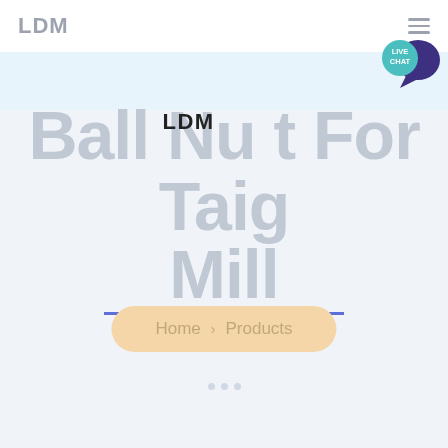LDM
Ball Nut For Taig Mill
LDM
100%
Home > Products